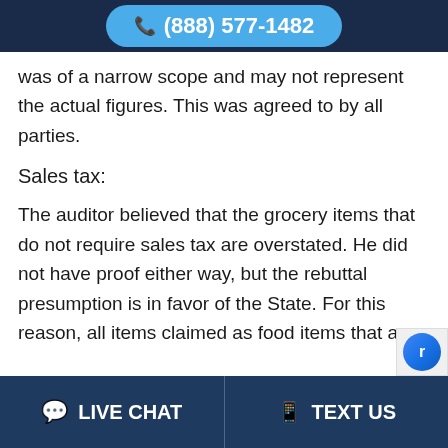(888) 577-1482
was of a narrow scope and may not represent the actual figures. This was agreed to by all parties.
Sales tax:
The auditor believed that the grocery items that do not require sales tax are overstated. He did not have proof either way, but the rebuttal presumption is in favor of the State. For this reason, all items claimed as food items that are
LIVE CHAT   TEXT US